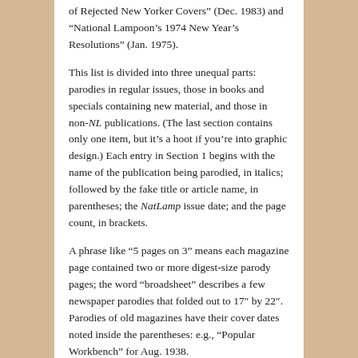of Rejected New Yorker Covers” (Dec. 1983) and “National Lampoon’s 1974 New Year’s Resolutions” (Jan. 1975).
This list is divided into three unequal parts: parodies in regular issues, those in books and specials containing new material, and those in non-NL publications. (The last section contains only one item, but it’s a hoot if you’re into graphic design.) Each entry in Section 1 begins with the name of the publication being parodied, in italics; followed by the fake title or article name, in parentheses; the NatLamp issue date; and the page count, in brackets.
A phrase like “5 pages on 3” means each magazine page contained two or more digest-size parody pages; the word “broadsheet” describes a few newspaper parodies that folded out to 17″ by 22″. Parodies of old magazines have their cover dates noted inside the parentheses: e.g., “Popular Workbench” for Aug. 1938.
A version of this list in alphabetical instead of